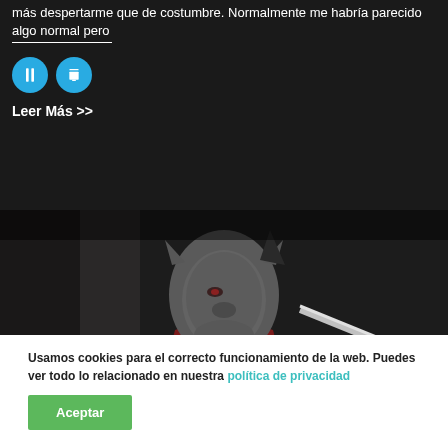más despertarme que de costumbre. Normalmente me habría parecido algo normal pero
[Figure (infographic): Two cyan circular social media share/bookmark buttons side by side]
Leer Más >>
[Figure (photo): Dark fantasy creature or monster with gray skin, pointed ears, red cloth, holding a weapon, dark background]
Usamos cookies para el correcto funcionamiento de la web. Puedes ver todo lo relacionado en nuestra política de privacidad
Aceptar